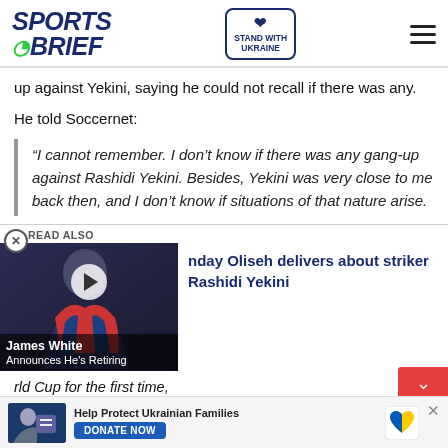Sports Brief — Stand with Ukraine
up against Yekini, saying he could not recall if there was any.
He told Soccernet:
“I cannot remember. I don’t know if there was any gang-up against Rashidi Yekini. Besides, Yekini was very close to me back then, and I don’t know if situations of that nature arise.
[Figure (screenshot): Video thumbnail showing a football player with James White Announces He's Retiring caption, with play button overlay]
nday Oliseh delivers about striker Rashidi Yekini
rld Cup for the first time,
Help Protect Ukrainian Families — DONATE NOW